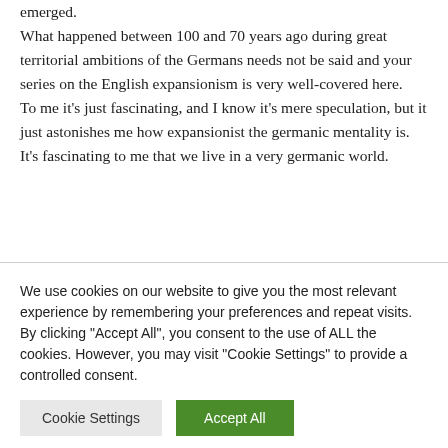emerged. What happened between 100 and 70 years ago during great territorial ambitions of the Germans needs not be said and your series on the English expansionism is very well-covered here. To me it's just fascinating, and I know it's mere speculation, but it just astonishes me how expansionist the germanic mentality is. It's fascinating to me that we live in a very germanic world.
We use cookies on our website to give you the most relevant experience by remembering your preferences and repeat visits. By clicking "Accept All", you consent to the use of ALL the cookies. However, you may visit "Cookie Settings" to provide a controlled consent.